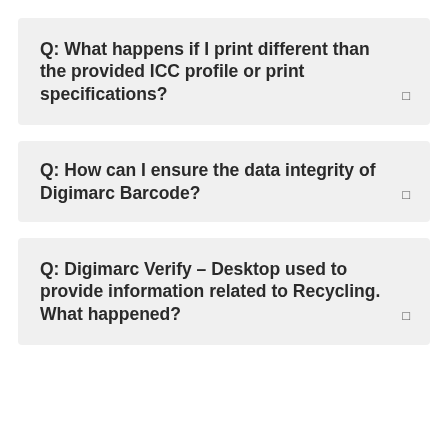Q: What happens if I print different than the provided ICC profile or print specifications?
Q: How can I ensure the data integrity of Digimarc Barcode?
Q: Digimarc Verify – Desktop used to provide information related to Recycling. What happened?